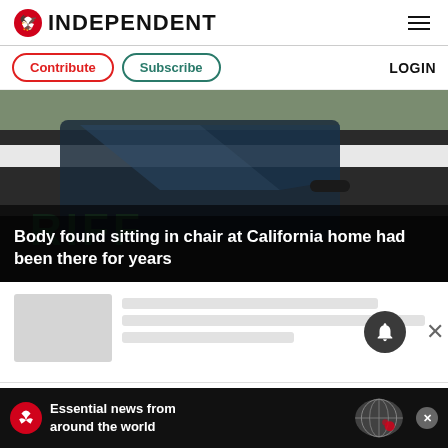INDEPENDENT
Contribute  Subscribe  LOGIN
[Figure (photo): Close-up of a sheriff's patrol car door showing the word SHERIFF, with a dark overlay at the bottom containing the article headline.]
Body found sitting in chair at California home had been there for years
[Figure (other): Skeleton loading placeholder with thumbnail and text lines, notification bell button, and close button]
[Figure (other): Advertisement bar: The Independent logo, text 'Essential news from around the world', globe graphic, and close button]